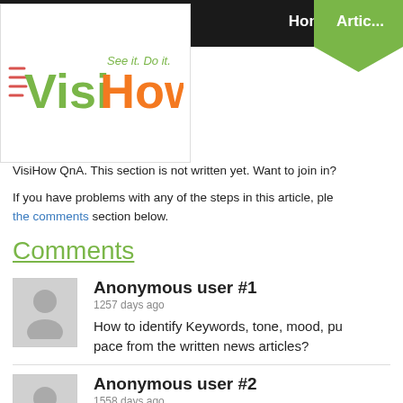[Figure (logo): VisiHow logo with slogan 'See it. Do it.' in green and orange colors]
VisiHow QnA. This section is not written yet. Want to join in?
If you have problems with any of the steps in this article, please ask in the comments section below.
Comments
Anonymous user #1
1257 days ago
How to identify Keywords, tone, mood, purpose, pace from the written news articles?
Anonymous user #2
1558 days ago
Thanks for the clear and precise heads up